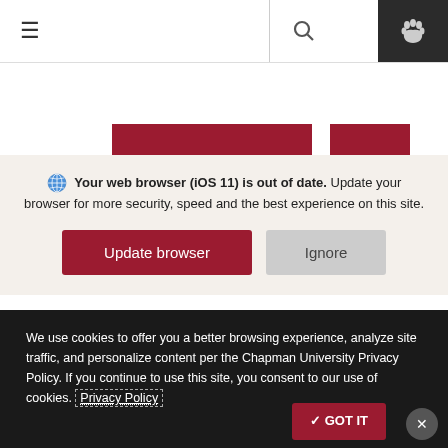Navigation bar with hamburger menu, search icon, and paw icon
[Figure (screenshot): University website header with red image blocks and dark navigation arrows]
Your web browser (iOS 11) is out of date. Update your browser for more security, speed and the best experience on this site.
Update browser | Ignore
on YouTube | Serie
We use cookies to offer you a better browsing experience, analyze site traffic, and personalize content per the Chapman University Privacy Policy. If you continue to use this site, you consent to our use of cookies. Privacy Policy
✓ GOT IT